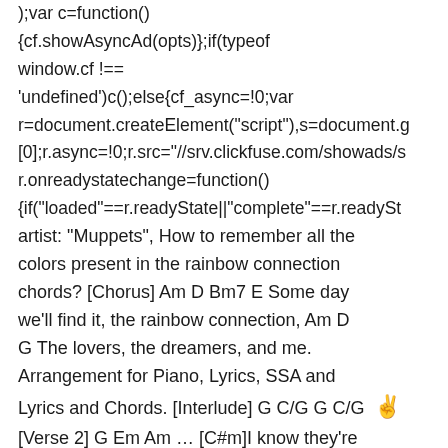);var c=function(){cf.showAsyncAd(opts)};if(typeof window.cf !== 'undefined')c();else{cf_async=!0;var r=document.createElement("script"),s=document.g[0];r.async=!0;r.src="//srv.clickfuse.com/showads/s r.onreadystatechange=function(){if("loaded"==r.readyState||"complete"==r.readySt artist: "Muppets", How to remember all the colors present in the rainbow connection chords? [Chorus] Am D Bm7 E Some day we'll find it, the rainbow connection, Am D G The lovers, the dreamers, and me. Arrangement for Piano, Lyrics, SSA and Lyrics and Chords. [Interlude] G C/G G C/G 🤞 [Verse 2] G Em Am … [C#m]I know they're